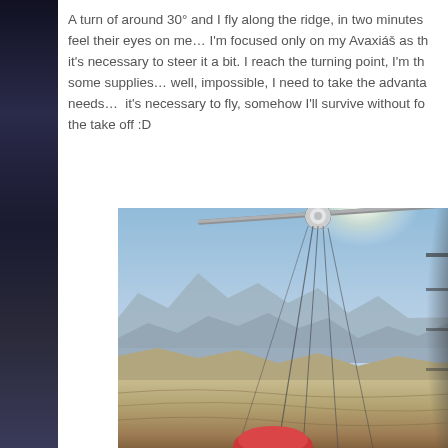A turn of around 30° and I fly along the ridge, in two minutes feel their eyes on me… I'm focused only on my Avaxiáš as th it's necessary to steer it a bit. I reach the turning point, I'm th some supplies… well, impossible, I need to take the advanta needs…  it's necessary to fly, somehow I'll survive without fo the take off :D
[Figure (photo): Aerial view from a paraglider/powered paraglider cockpit showing mountain ridges, sky with sun glare, brown terrain below, paraglider lines and equipment visible in frame]